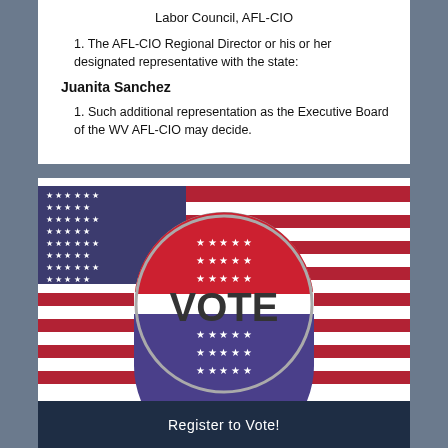Labor Council, AFL-CIO
1. The AFL-CIO Regional Director or his or her designated representative with the state:
Juanita Sanchez
1. Such additional representation as the Executive Board of the WV AFL-CIO may decide.
[Figure (photo): A circular VOTE button/badge with red, white, and blue stripes and white stars, displayed against an American flag background.]
Register to Vote!
[Figure (photo): Bottom portion of a photo showing a person, partially visible.]